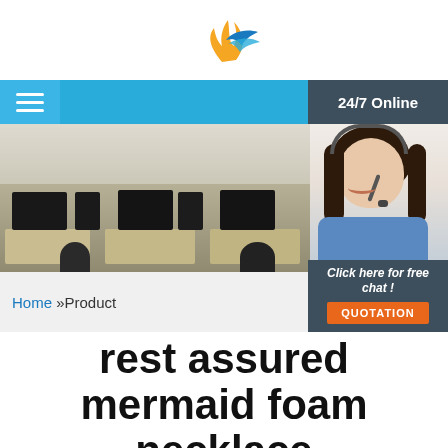[Figure (logo): Company logo with orange/yellow flame and blue wing shape]
[Figure (screenshot): Website header with navigation bar showing hamburger menu, blue background, 24/7 Online badge in dark panel, office photo background, woman with headset on right side, breadcrumb showing Home » Product, Click here for free chat button, and QUOTATION orange button]
rest assured mermaid foam necklace manufacturer sales united states